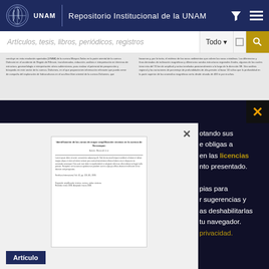Repositorio Institucional de la UNAM
Artículos, tesis, libros, periódicos, registros
[Figure (screenshot): Document preview strip showing two columns of small text from a scanned article]
...otando sus
e obligas a
en las licencias
nto presentado.
pias para
r sugerencias y
as deshabilitarlas
tu navegador.
privacidad.
[Figure (screenshot): Thumbnail preview of an article document showing title and body text]
Artículo
Identificación de las zonas de mayor amplificación sísmica en